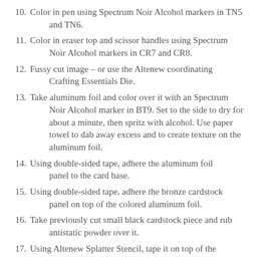10. Color in pen using Spectrum Noir Alcohol markers in TN5 and TN6.
11. Color in eraser top and scissor handles using Spectrum Noir Alcohol markers in CR7 and CR8.
12. Fussy cut image – or use the Altenew coordinating Crafting Essentials Die.
13. Take aluminum foil and color over it with an Spectrum Noir Alcohol marker in BT9. Set to the side to dry for about a minute, then spritz with alcohol. Use paper towel to dab away excess and to create texture on the aluminum foil.
14. Using double-sided tape, adhere the aluminum foil panel to the card base.
15. Using double-sided tape, adhere the bronze cardstock panel on top of the colored aluminum foil.
16. Take previously cut small black cardstock piece and rub antistatic powder over it.
17. Using Altenew Splatter Stencil, tape it on top of the